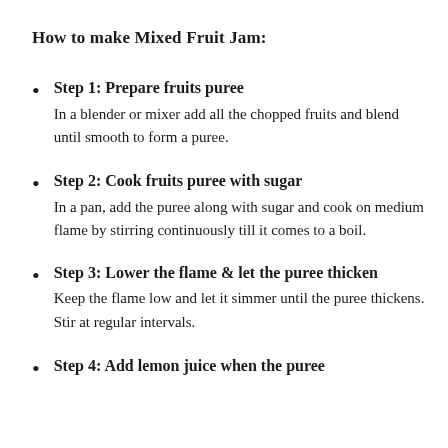How to make Mixed Fruit Jam:
Step 1: Prepare fruits puree
In a blender or mixer add all the chopped fruits and blend until smooth to form a puree.
Step 2: Cook fruits puree with sugar
In a pan, add the puree along with sugar and cook on medium flame by stirring continuously till it comes to a boil.
Step 3: Lower the flame & let the puree thicken
Keep the flame low and let it simmer until the puree thickens. Stir at regular intervals.
Step 4: Add lemon juice when the puree